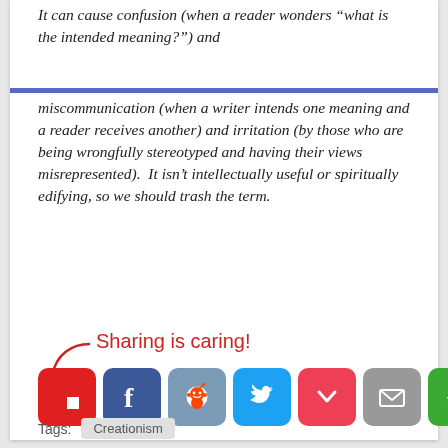It can cause confusion (when a reader wonders "what is the intended meaning?") and miscommunication (when a writer intends one meaning and a reader receives another) and irritation (by those who are being wrongfully stereotyped and having their views misrepresented).  It isn't intellectually useful or spiritually edifying, so we should trash the term.
[Figure (infographic): Sharing is caring! label with red arrow and social media share buttons: Flipboard, Facebook, Reddit, Twitter, Pocket, Email, and a rotate/refresh icon.]
Tags:  Creationism